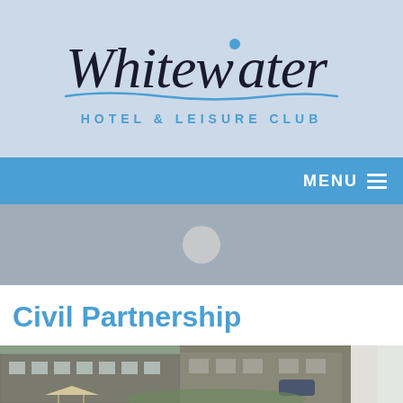[Figure (logo): Whitewater Hotel & Leisure Club logo on light blue background, with decorative wave underline and subtitle text]
MENU ☰
[Figure (other): Grey slider/hero area with circular dot navigation element in center]
Civil Partnership
The Whitewater Hotel, Spa and Leisure Club the perfect venue for Civil Ceremonies
[Figure (photo): Exterior photo of Whitewater Hotel showing stone building facade, gazebo, and grounds]